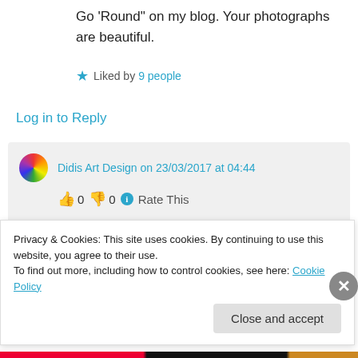Go ‘Round” on my blog. Your photographs are beautiful.
Liked by 9 people
Log in to Reply
Didis Art Design on 23/03/2017 at 04:44
👍 0 👎 0 ⓘ Rate This
Thanks, dear Constance –
Privacy & Cookies: This site uses cookies. By continuing to use this website, you agree to their use.
To find out more, including how to control cookies, see here: Cookie Policy
Close and accept